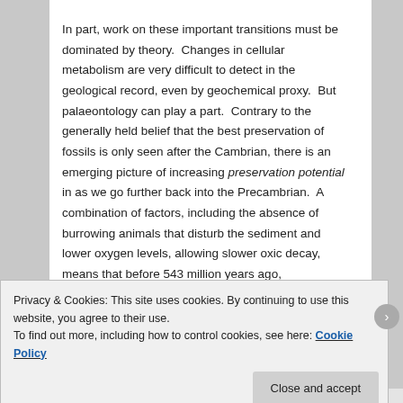In part, work on these important transitions must be dominated by theory.  Changes in cellular metabolism are very difficult to detect in the geological record, even by geochemical proxy.  But palaeontology can play a part.  Contrary to the generally held belief that the best preservation of fossils is only seen after the Cambrian, there is an emerging picture of increasing preservation potential in as we go further back into the Precambrian.  A combination of factors, including the absence of burrowing animals that disturb the sediment and lower oxygen levels, allowing slower oxic decay, means that before 543 million years ago, preservation of delicate structures, and especially cellular details, was exceptional.
Privacy & Cookies: This site uses cookies. By continuing to use this website, you agree to their use.
To find out more, including how to control cookies, see here: Cookie Policy